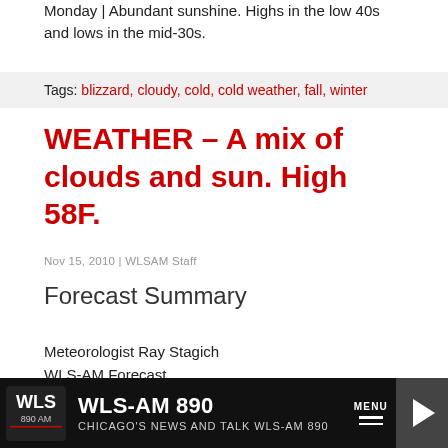Monday | Abundant sunshine. Highs in the low 40s and lows in the mid-30s.
Tags: blizzard, cloudy, cold, cold weather, fall, winter
WEATHER – A mix of clouds and sun. High 58F.
Nov 15, 2010 | WLSAM Staff
Forecast Summary
Meteorologist Ray Stagich
WLS-AM Forecast
Tuesday, November 15
Ray's Note: A mild week ahead. Back to more standard November cold by the weekend. It could be in the 70s by Thursday!!!
WLS-AM 890 | CHICAGO'S NEWS AND TALK WLS-AM 890